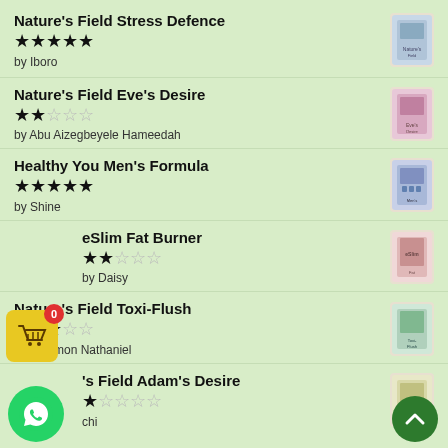Nature's Field Stress Defence
★★★★★
by Iboro
Nature's Field Eve's Desire
★★☆☆☆
by Abu Aizegbeyele Hameedah
Healthy You Men's Formula
★★★★★
by Shine
eSlim Fat Burner
★★☆☆☆
by Daisy
Nature's Field Toxi-Flush
★★★☆☆
by Solomon Nathaniel
's Field Adam's Desire
★☆☆☆☆
by chi